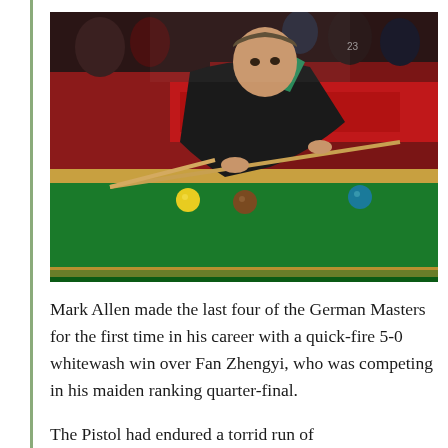[Figure (photo): A snooker player (Mark Allen) leaning over a green snooker table, gripping a cue, about to take a shot. Several coloured snooker balls are visible on the table. The background shows an arena with red banners and spectators in a dimly lit setting.]
Mark Allen made the last four of the German Masters for the first time in his career with a quick-fire 5-0 whitewash win over Fan Zhengyi, who was competing in his maiden ranking quarter-final.
The Pistol had endured a torrid run of